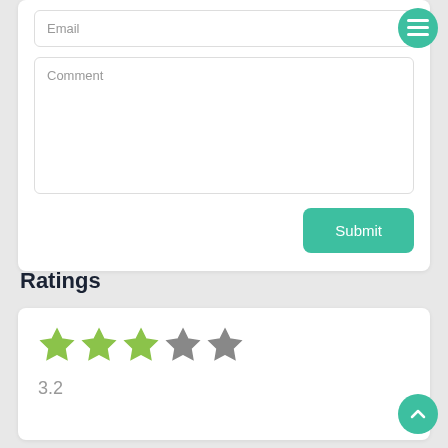Email
Comment
Submit
Ratings
[Figure (other): Star rating display showing 3 filled green stars and 2 grey stars with a rating value of 3.2]